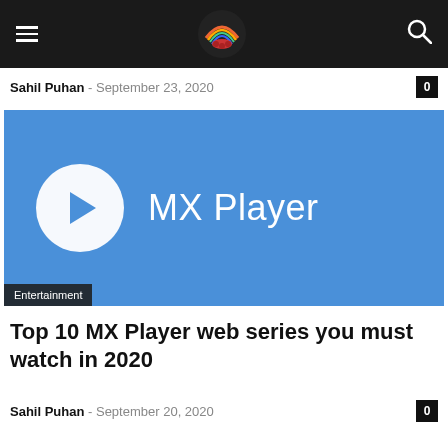[Navigation bar with hamburger menu, site logo, and search icon]
Sahil Puhan - September 23, 2020
[Figure (screenshot): MX Player promotional image: blue background with white play button circle and 'MX Player' text in white. Entertainment tag in bottom-left corner.]
Top 10 MX Player web series you must watch in 2020
Sahil Puhan - September 20, 2020